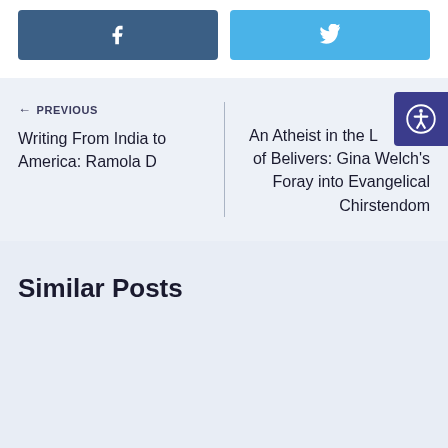[Figure (other): Social share buttons: Facebook (blue) and Twitter (light blue) icons]
← PREVIOUS
Writing From India to America: Ramola D
NEXT
An Atheist in the Land of Belivers: Gina Welch's Foray into Evangelical Chirstendom
Similar Posts